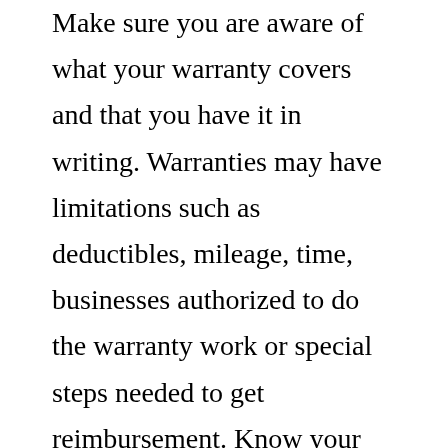Make sure you are aware of what your warranty covers and that you have it in writing. Warranties may have limitations such as deductibles, mileage, time, businesses authorized to do the warranty work or special steps needed to get reimbursement. Know your warranty rights.
Rotate your car tires every 6,000 miles or at every other oil change. Rotating your tires on a set schedule helps ensure that they wear evenly, and thus last longer. Your car will also